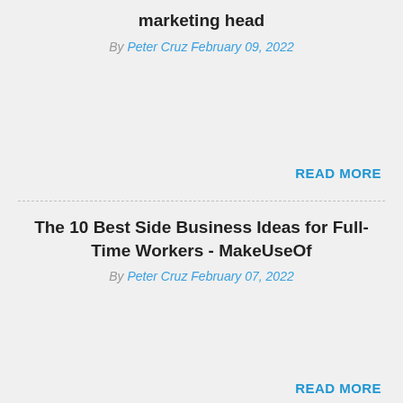marketing head
By Peter Cruz February 09, 2022
READ MORE
The 10 Best Side Business Ideas for Full-Time Workers - MakeUseOf
By Peter Cruz February 07, 2022
READ MORE